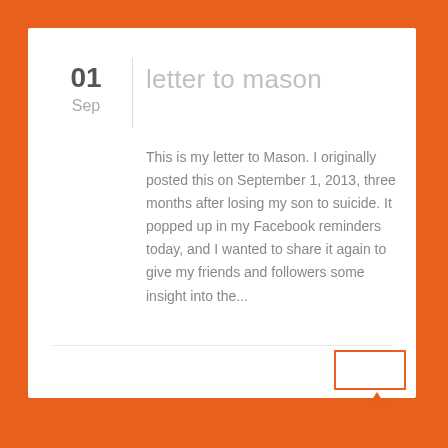letter to mason
01
Sep
This is my letter to Mason. I originally posted this on September 1, 2013, three months after losing my son to suicide. It popped up in my Facebook reminders today, and I wanted to share it again to give my friends and followers some insight into the...